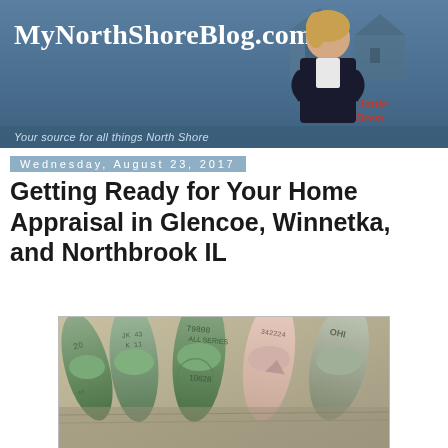MyNorthShoreBlog.com — Your source for all things North Shore
Wednesday, August 23, 2017
Getting Ready for Your Home Appraisal in Glencoe, Winnetka, and Northbrook IL
[Figure (photo): Rolled up US dollar bills standing upright, fanned out on a light surface]